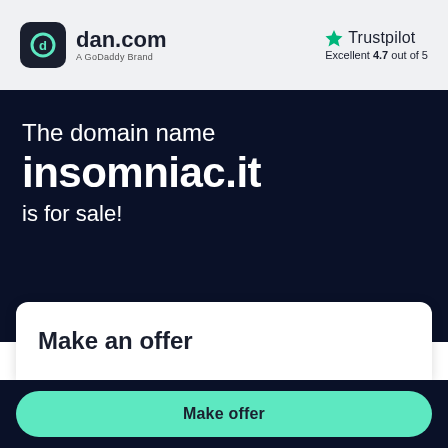[Figure (logo): dan.com logo with dark rounded square icon and text 'dan.com' with subtitle 'A GoDaddy Brand']
[Figure (logo): Trustpilot logo with green star and text 'Trustpilot', rating 'Excellent 4.7 out of 5']
The domain name insomniac.it is for sale!
Make an offer
Make offer